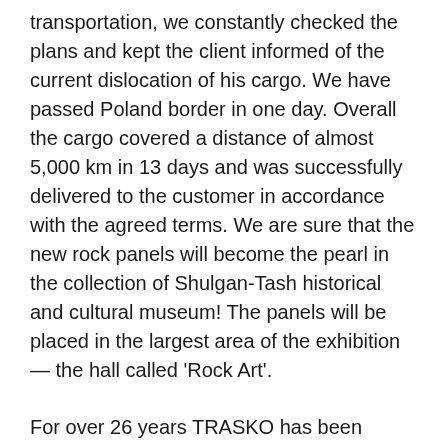transportation, we constantly checked the plans and kept the client informed of the current dislocation of his cargo. We have passed Poland border in one day. Overall the cargo covered a distance of almost 5,000 km in 13 days and was successfully delivered to the customer in accordance with the agreed terms. We are sure that the new rock panels will become the pearl in the collection of Shulgan-Tash historical and cultural museum! The panels will be placed in the largest area of the exhibition — the hall called 'Rock Art'.
For over 26 years TRASKO has been professionally delivering different cargo. We value the trust of our customers and happy to provide many years of experience and our competence to successfully solve your logistics issues.